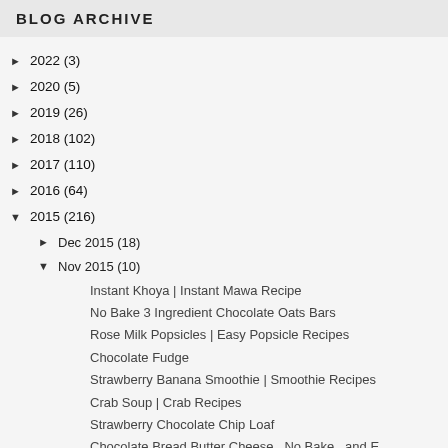BLOG ARCHIVE
► 2022 (3)
► 2020 (5)
► 2019 (26)
► 2018 (102)
► 2017 (110)
► 2016 (64)
▼ 2015 (216)
► Dec 2015 (18)
▼ Nov 2015 (10)
Instant Khoya | Instant Mawa Recipe
No Bake 3 Ingredient Chocolate Oats Bars
Rose Milk Popsicles | Easy Popsicle Recipes
Chocolate Fudge
Strawberry Banana Smoothie | Smoothie Recipes
Crab Soup | Crab Recipes
Strawberry Chocolate Chip Loaf
Chocolate Bread Butter Cheese...No Bake...and E...